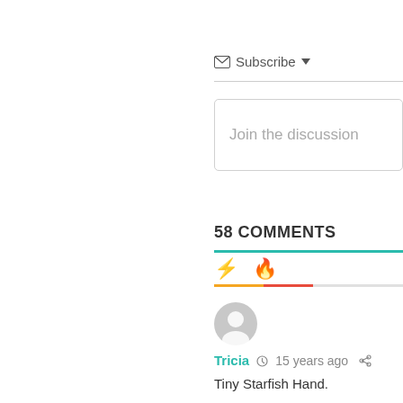Subscribe ▼
Join the discussion
58 COMMENTS
[Figure (other): Comment sort icons: lightning bolt (best) and fire (hot) with tab indicator bars]
[Figure (other): User avatar placeholder circle with person silhouette]
Tricia  15 years ago
Tiny Starfish Hand.